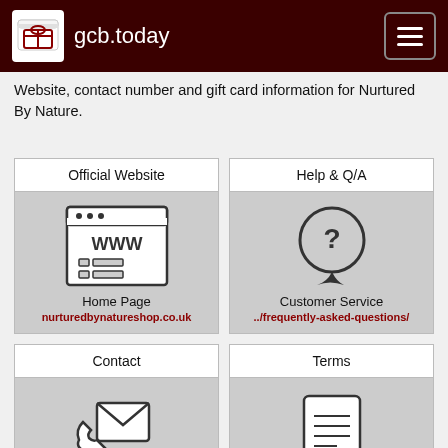gcb.today
Website, contact number and gift card information for Nurtured By Nature.
[Figure (illustration): Official Website card with WWW browser icon, label 'Home Page' and link 'nurturedbynatureshop.co.uk']
[Figure (illustration): Help & Q/A card with question mark speech bubble icon, label 'Customer Service' and link '../frequently-asked-questions/']
[Figure (illustration): Contact card with phone and envelope icon, label 'Service & Support' and link '../contact/']
[Figure (illustration): Terms card with scroll/document icon, label 'Terms & Conditions' and link '../terms-condition/']